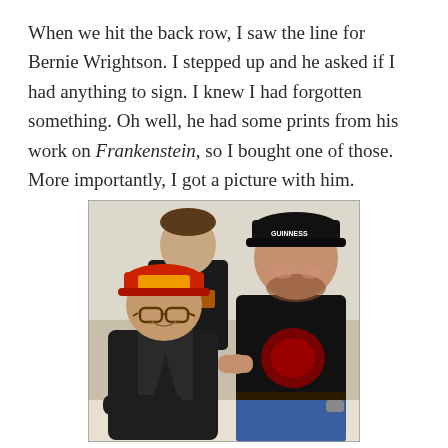When we hit the back row, I saw the line for Bernie Wrightson. I stepped up and he asked if I had anything to sign. I knew I had forgotten something. Oh well, he had some prints from his work on Frankenstein, so I bought one of those. More importantly, I got a picture with him.
[Figure (photo): Two men posing together for a photo. The man on the left is seated, wearing a red and yellow baseball cap and glasses, dressed in a dark jacket. The man on the right is standing, wearing a black baseball cap with 'Guinness' written on it and a black t-shirt. A third person is visible in the background wearing a black hoodie with orange text.]